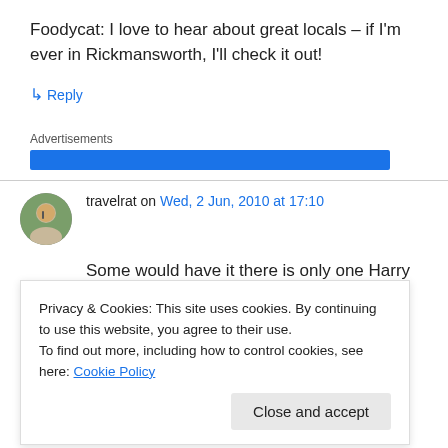Foodycat: I love to hear about great locals – if I'm ever in Rickmansworth, I'll check it out!
↳ Reply
Advertisements
travelrat on Wed, 2 Jun, 2010 at 17:10
Some would have it there is only one Harry
Privacy & Cookies: This site uses cookies. By continuing to use this website, you agree to their use.
To find out more, including how to control cookies, see here: Cookie Policy
Close and accept
Guiseley does have a slight edge (my wife says